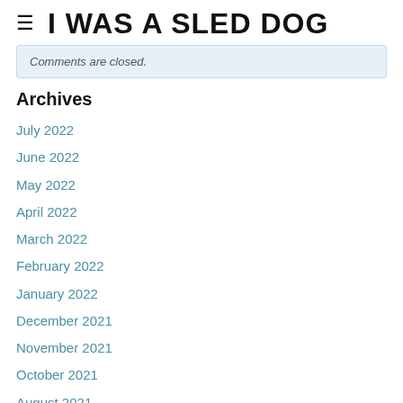≡  I WAS A SLED DOG
Comments are closed.
Archives
July 2022
June 2022
May 2022
April 2022
March 2022
February 2022
January 2022
December 2021
November 2021
October 2021
August 2021
July 2021
May 2021
April 2021
March 2021